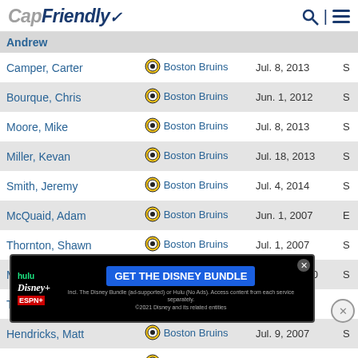CapFriendly
| Player | Team | Date | Salary |
| --- | --- | --- | --- |
| Andrew |  |  |  |
| Camper, Carter | Boston Bruins | Jul. 8, 2013 | S |
| Bourque, Chris | Boston Bruins | Jun. 1, 2012 | S |
| Moore, Mike | Boston Bruins | Jul. 8, 2013 | S |
| Miller, Kevan | Boston Bruins | Jul. 18, 2013 | S |
| Smith, Jeremy | Boston Bruins | Jul. 4, 2014 | S |
| McQuaid, Adam | Boston Bruins | Jun. 1, 2007 | E |
| Thornton, Shawn | Boston Bruins | Jul. 1, 2007 | S |
| McGrattan, Brian | Boston Bruins | Oct. 11, 2010 | S |
| Thompson, Nate | Boston Bruins | Jul. 28, 2008 | S |
| Hendricks, Matt | Boston Bruins | Jul. 9, 2007 | S |
| Boychuk, Johnny | Boston Bruins | Jun. 30, 2008 | S |
| Boychu… |  |  |  |
| Jurcina… |  |  |  |
[Figure (screenshot): Disney Bundle advertisement banner with Hulu, Disney+, ESPN+ logos and GET THE DISNEY BUNDLE CTA button]